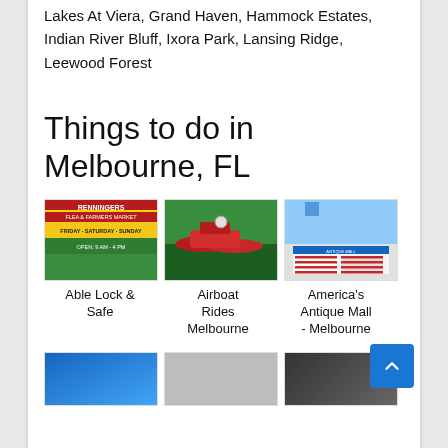Lakes At Viera, Grand Haven, Hammock Estates, Indian River Bluff, Ixora Park, Lansing Ridge, Leewood Forest
Things to do in Melbourne, FL
[Figure (photo): Three thumbnail photos: Renningers Flea & Farmers Market sign, airboat rides on water, America's Antique Mall building exterior]
Able Lock & Safe
Airboat Rides Melbourne
America's Antique Mall - Melbourne
[Figure (photo): Three more thumbnail photos of Melbourne FL attractions, partially visible at bottom of page]